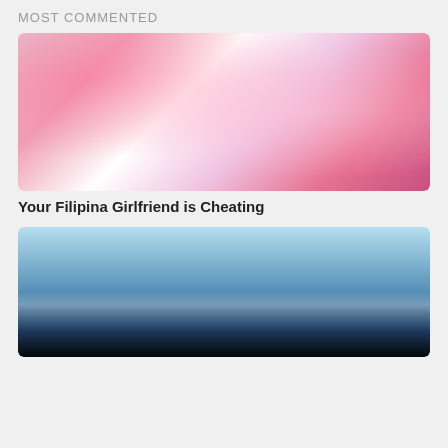MOST COMMENTED
[Figure (photo): Young woman in pink cap and white top posing in a colorful room]
Your Filipina Girlfriend is Cheating
[Figure (photo): Silhouette of person at an infinity pool overlooking a city skyline]